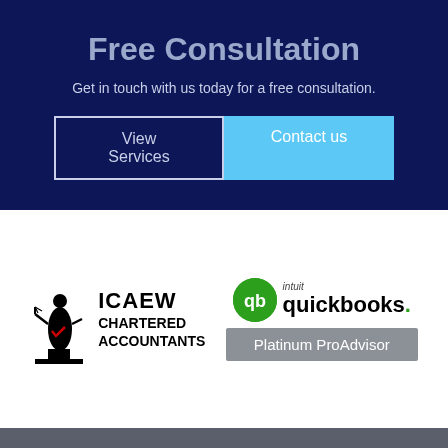Free Consultation
Get in touch with us today for a free consultation.
View Services
Contact us
[Figure (logo): ICAEW Chartered Accountants logo with a classical figure statue and text ICAEW CHARTERED ACCOUNTANTS]
[Figure (logo): Intuit QuickBooks Platinum ProAdvisor logo with green circle QB badge and grey Platinum ProAdvisor badge]